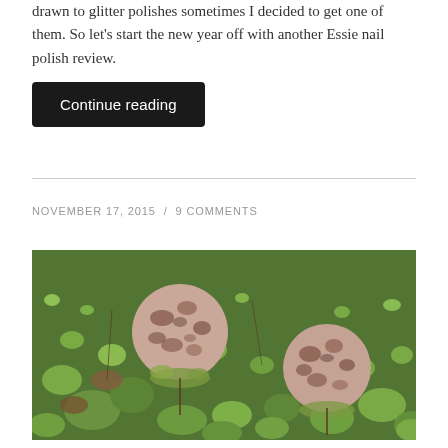drawn to glitter polishes sometimes I decided to get one of them. So let's start the new year off with another Essie nail polish review.
Continue reading
NOVEMBER 17, 2015 / 9 COMMENTS
[Figure (photo): Close-up photo of succulent plants with two round, mottled brownish-pink seed pods or buds among green succulent foliage]